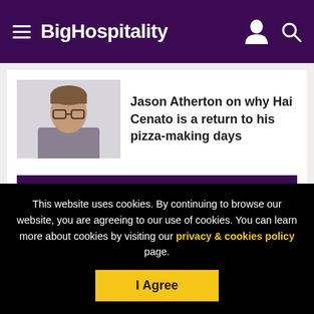BigHospitality
[Figure (photo): Headshot of Jason Atherton, a man with short brown hair and glasses, against a light background]
Jason Atherton on why Hai Cenato is a return to his pizza-making days
Show more
MOST POPULAR NEWS
This website uses cookies. By continuing to browse our website, you are agreeing to our use of cookies. You can learn more about cookies by visiting our privacy & cookies policy page.
I Agree